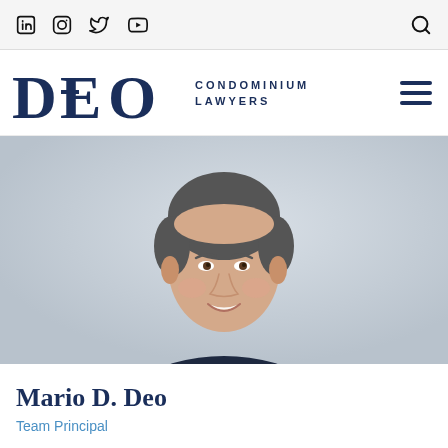Social icons: LinkedIn, Instagram, Twitter, YouTube | Search
[Figure (logo): DEO Condominium Lawyers logo with hamburger menu icon]
[Figure (photo): Professional headshot of Mario D. Deo, a middle-aged man in a dark suit with light blue shirt and grey tie, smiling, against a grey background]
Mario D. Deo
Team Principal